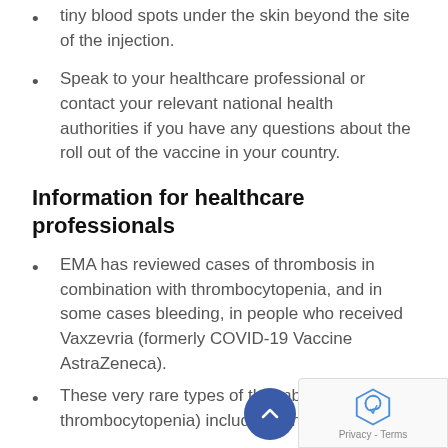tiny blood spots under the skin beyond the site of the injection.
Speak to your healthcare professional or contact your relevant national health authorities if you have any questions about the roll out of the vaccine in your country.
Information for healthcare professionals
EMA has reviewed cases of thrombosis in combination with thrombocytopenia, and in some cases bleeding, in people who received Vaxzevria (formerly COVID-19 Vaccine AstraZeneca).
These very rare types of thrombosis (with thrombocytopenia) included venous